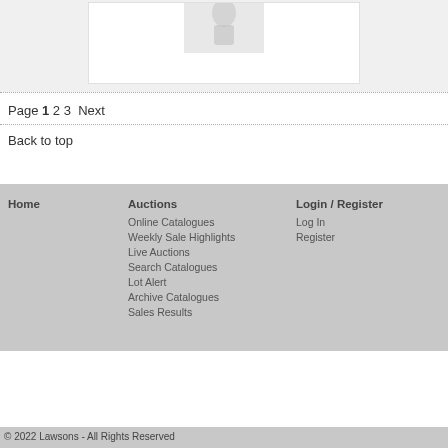[Figure (photo): Partial view of an auction item photograph in a white box on a light grey background]
Page 1 2 3  Next
Back to top
Home
Auctions
Login / Register
Online Catalogues
Weekly Sale Highlights
Live Auctions
Search Catalogues
Lot Alert
Archive Catalogues
Sales Results
Log In
Register
© 2022 Lawsons - All Rights Reserved